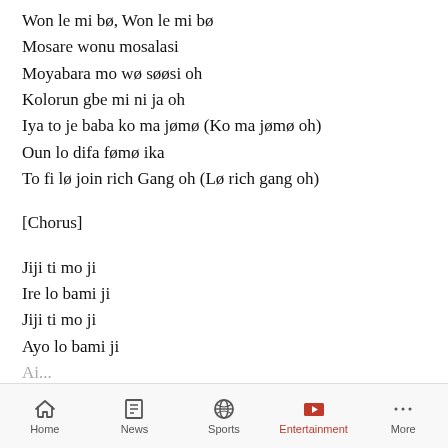Won le mi bø, Won le mi bø
Mosare wonu mosalasi
Moyabara mo wø søøsi oh
Kolorun gbe mi ni ja oh
Iya to je baba ko ma jømø (Ko ma jømø oh)
Oun lo difa fømø ika
To fi lø join rich Gang oh (Lø rich gang oh)
[Chorus]
Jiji ti mo ji
Ire lo bami ji
Jiji ti mo ji
Ayo lo bami ji
Ai...
Home | News | Sports | Entertainment | More